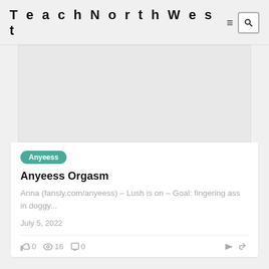TeachNorthWest
[Figure (other): Advertisement placeholder area, light grey background]
Anyeess
Anyeess Orgasm
Anna (fansly.com/anyeess) – Lush is on – Goal: fingering ass in doggy...
July 5, 2022
0  16  0